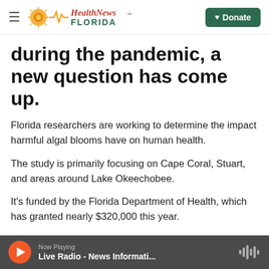Health News Florida — Donate
during the pandemic, a new question has come up.
Florida researchers are working to determine the impact harmful algal blooms have on human health.
The study is primarily focusing on Cape Coral, Stuart, and areas around Lake Okeechobee.
It's funded by the Florida Department of Health, which has granted nearly $320,000 this year.
For the past three years, Florida Atlantic University
Now Playing — Live Radio - News Informati...